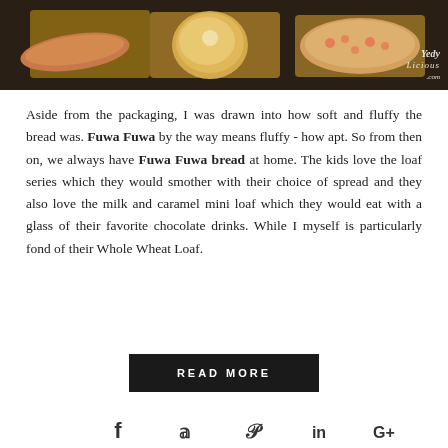[Figure (photo): Photo of various breads on wooden cutting boards — a baguette, round rolls, and an oval topped bread, on a dark surface. Watermark reads 'Yedy Licious .com' in bottom right.]
Aside from the packaging, I was drawn into how soft and fluffy the bread was. Fuwa Fuwa by the way means fluffy - how apt. So from then on, we always have Fuwa Fuwa bread at home. The kids love the loaf series which they would smother with their choice of spread and they also love the milk and caramel mini loaf which they would eat with a glass of their favorite chocolate drinks. While I myself is particularly fond of their Whole Wheat Loaf.
READ MORE
[Figure (other): Social media share icons: Facebook, Twitter, Pinterest, LinkedIn, Google+]